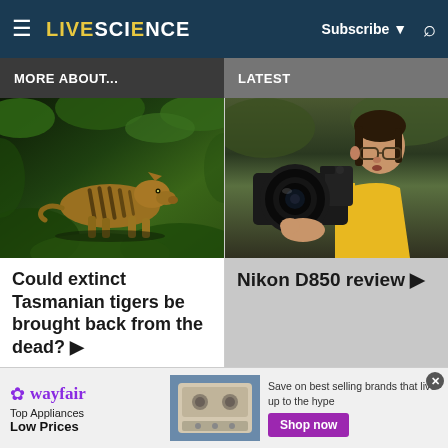LIVESCIENCE — Subscribe — Search
MORE ABOUT...
LATEST
[Figure (photo): Artistic reconstruction of a Tasmanian tiger (thylacine) in a jungle/forest setting, brown striped animal]
Could extinct Tasmanian tigers be brought back from the dead? ▶
[Figure (photo): Person holding a large Nikon D850 camera with telephoto lens, wearing yellow jacket]
Nikon D850 review ▶
[Figure (other): Wayfair advertisement banner: Top Appliances Low Prices, image of appliance, Save on best selling brands that live up to the hype, Shop now button]